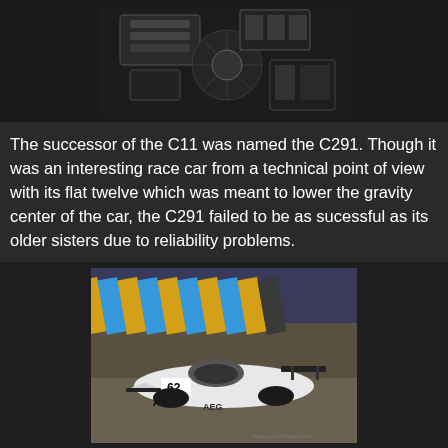[Figure (photo): Close-up photo of a racing car engine showing mechanical components, carbon fiber parts, and complex engineering details against a dark background.]
The successor of the C11 was named the C291. Though it was an interesting race car from a technical point of view with its flat twelve which was meant to lower the gravity center of the car, the C291 failed to be as sucessful as its older sisters due to reliability problems.
[Figure (photo): Photo of a white Sauber-Mercedes C291 race car numbered 62 with AEG sponsorship, racing on a track with colorful striped barriers in the background.]